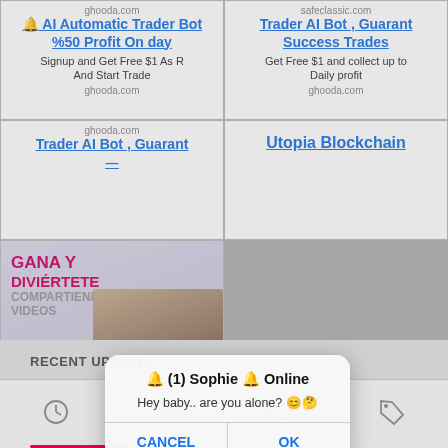[Figure (screenshot): Ad grid with two columns. Top-left ad: ghooda.com - AI Automatic Trader Bot %50 Profit On day, Signup and Get Free $1 As R And Start Trade. Top-right ad: safeclassic.com - Trader AI Bot, Guarant Success Trades, Get Free $1 and collect up to Daily profit, ghooda.com.]
[Figure (screenshot): Second row ads: left cell ghooda.com Trader AI Bot Guarant; right cell Utopia Blockchain. Below left: an advertisement image with Spanish text GANA Y DIVIERTETE COMPARTIENDO VIDEOS with a woman at laptop.]
[Figure (screenshot): Mobile dialog popup overlay: title '🔔 (1) Sophie 🔔 Online', message 'Hey baby.. are you alone? 😊🤔', with CANCEL and OK buttons.]
RECENT UPDATE
[Figure (screenshot): Bottom navigation bar with four icons: clock/history, star/favorites, chat bubble/comments, tag/labels. Red underline indicator below first icon.]